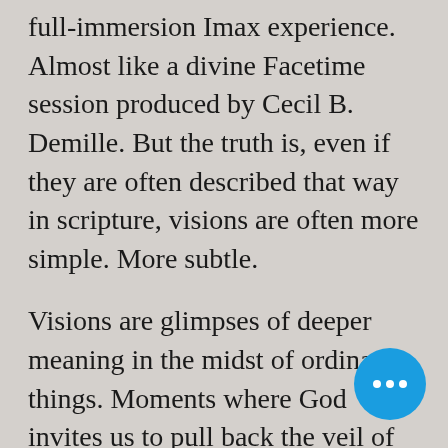full-immersion Imax experience. Almost like a divine Facetime session produced by Cecil B. Demille. But the truth is, even if they are often described that way in scripture, visions are often more simple. More subtle.
Visions are glimpses of deeper meaning in the midst of ordinary things. Moments where God invites us to pull back the veil of this reality and recognize the ways God is moving and working in the world around us. And God is inviting us to join in that holy work. If hearing that makes you think “Yes, but I am not worth that,” You’re in good company.
[Figure (other): Blue circular button with three white dots (more options / ellipsis button) positioned in the bottom-right area of the page]